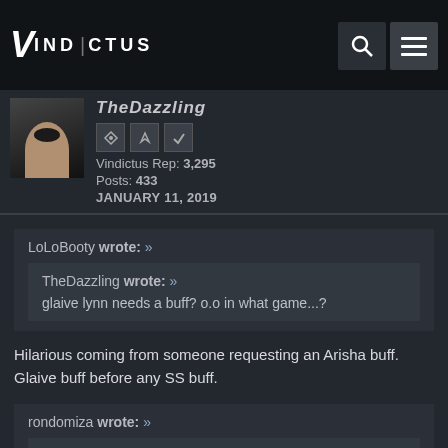[Figure (logo): Vindictus game logo with stylized V and text VINDICTUS]
TheDazzling
Vindictus Rep: 3,295
Posts: 433
JANUARY 11, 2019
LoLoBooty wrote: »

TheDazzling wrote: »

glaive lynn needs a buff? o.o in what game...?

Hilarious coming from someone requesting an Arisha buff. Glaive buff before any SS buff.

rondomiza wrote: »

LoLoBooty wrote: »

Nokaubure wrote: »